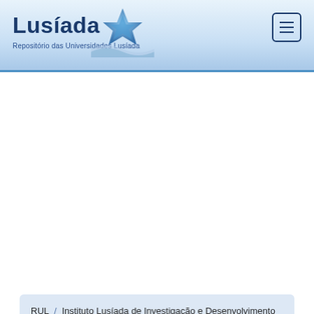[Figure (logo): Lusíada university repository logo with stylized blue star/compass graphic and text 'Lusíada' and subtitle 'Repositório das Universidades Lusíada']
RUL / Instituto Lusíada de Investigação e Desenvolvimento / Centro de Investigação em Organizações, Mercados e Gestão Industrial / [ILID-COMEGI] Contribuições em livros
Please use this identifier to cite or link to this item:
http://hdl.handle.net/11067/6314